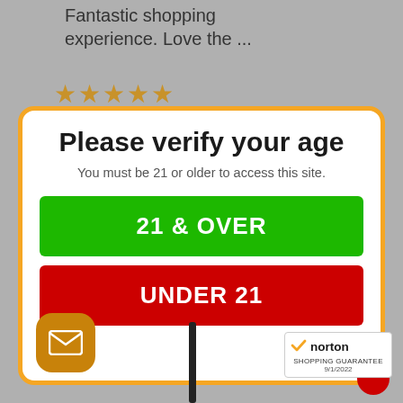Fantastic shopping experience. Love the ...
[Figure (other): Five gold star rating icons]
Please verify your age
You must be 21 or older to access this site.
21 & OVER
UNDER 21
[Figure (logo): Norton Shopping Guarantee badge with checkmark, dated 9/1/2022]